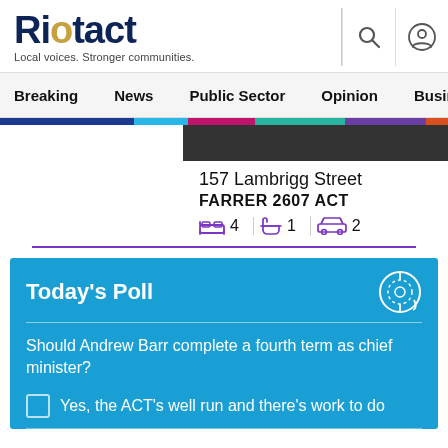Riotact — Local voices. Stronger communities.
Breaking  News  Public Sector  Opinion  Business  R
157 Lambrigg Street
FARRER 2607 ACT
4 bedrooms  1 bathroom  2 parking
Today's Poll
Should Andrew Barr complete a fourth term as chief minister?
Yes, the ACT's well run and there's work to do